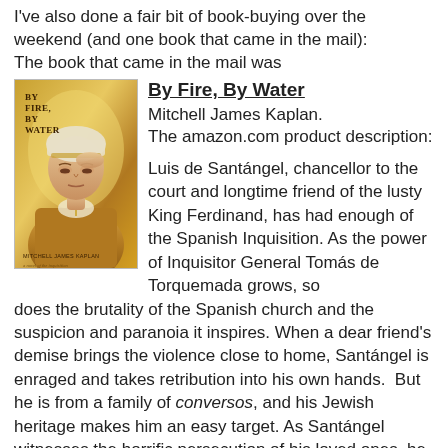I've also done a fair bit of book-buying over the weekend (and one book that came in the mail):
The book that came in the mail was
[Figure (photo): Book cover of 'By Fire, By Water' by Mitchell James Kaplan, showing a painting of a woman in Renaissance clothing with a white headdress and cross necklace, on a golden/warm-toned background.]
By Fire, By Water
Mitchell James Kaplan.
The amazon.com product description:

Luis de Santángel, chancellor to the court and longtime friend of the lusty King Ferdinand, has had enough of the Spanish Inquisition. As the power of Inquisitor General Tomás de Torquemada grows, so does the brutality of the Spanish church and the suspicion and paranoia it inspires. When a dear friend's demise brings the violence close to home, Santángel is enraged and takes retribution into his own hands.  But he is from a family of conversos, and his Jewish heritage makes him an easy target. As Santángel witnesses the horrific persecution of his loved ones, he begins slowly to reconnect with the Jewish faith his family left behind. Feeding his curiosity about his